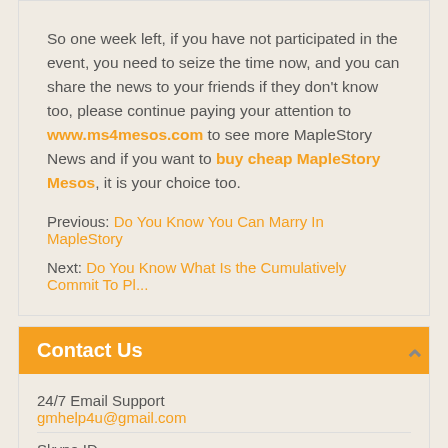So one week left, if you have not participated in the event, you need to seize the time now, and you can share the news to your friends if they don't know too, please continue paying your attention to www.ms4mesos.com to see more MapleStory News and if you want to buy cheap MapleStory Mesos, it is your choice too.
Previous: Do You Know You Can Marry In MapleStory
Next: Do You Know What Is the Cumulatively Commit To Pl...
Contact Us
24/7 Email Support
gmhelp4u@gmail.com
Skype ID
For Game Currency :coolyou8